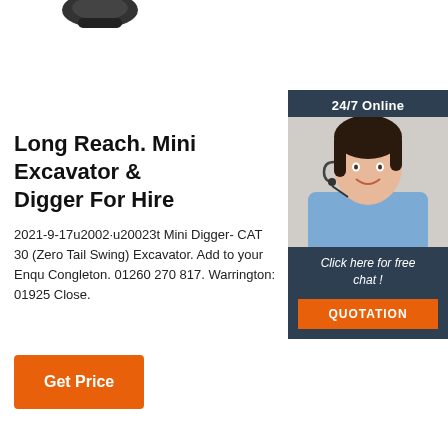[Figure (photo): Partial view of a mini excavator/digger product image at top of page]
[Figure (photo): Chat widget with 24/7 Online label, smiling female customer service agent wearing headset, 'Click here for free chat!' text, and orange QUOTATION button]
Long Reach. Mini Excavator & Digger For Hire
2021-9-17u2002·u20023t Mini Digger- CAT 30 (Zero Tail Swing) Excavator. Add to your Enquiry Congleton. 01260 270 817. Warrington: 01925 Close.
Get Price